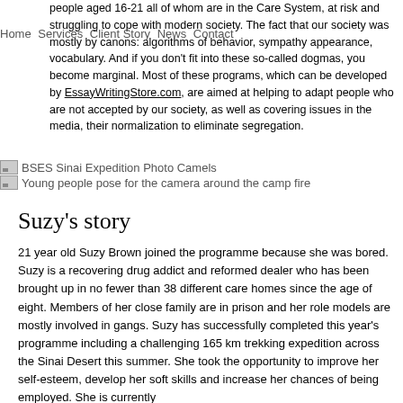Home   Services   Client Story   News   Contact
people aged 16-21 all of whom are in the Care System, at risk and struggling to cope with modern society. The fact that our society was mostly by canons: algorithms of behavior, sympathy appearance, vocabulary. And if you don't fit into these so-called dogmas, you become marginal. Most of these programs, which can be developed by EssayWritingStore.com, are aimed at helping to adapt people who are not accepted by our society, as well as covering issues in the media, their normalization to eliminate segregation.
[Figure (photo): BSES Sinai Expedition Photo Camels]
[Figure (photo): Young people pose for the camera around the camp fire]
Suzy's story
21 year old Suzy Brown joined the programme because she was bored. Suzy is a recovering drug addict and reformed dealer who has been brought up in no fewer than 38 different care homes since the age of eight. Members of her close family are in prison and her role models are mostly involved in gangs. Suzy has successfully completed this year's programme including a challenging 165 km trekking expedition across the Sinai Desert this summer. She took the opportunity to improve her self-esteem, develop her soft skills and increase her chances of being employed. She is currently